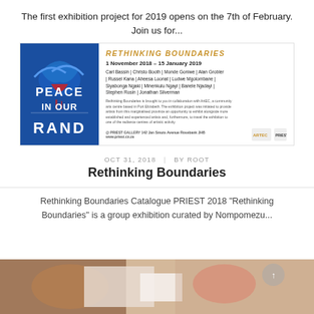The first exhibition project for 2019 opens on the 7th of February. Join us for...
[Figure (illustration): Exhibition flyer for 'Rethinking Boundaries' showing a blue poster with a dove graphic and graffiti-style text 'PEACE IN OUR RAND', alongside exhibition details, artist names, dates, and venue information at Priest Gallery, Rosebank.]
OCT 31, 2018  |  BY ROOT
Rethinking Boundaries
Rethinking Boundaries Catalogue PRIEST 2018 "Rethinking Boundaries" is a group exhibition curated by Nompomezu...
[Figure (photo): Partial view of an artwork showing abstract forms with warm tones of brown, white, and orange/red on a light background.]